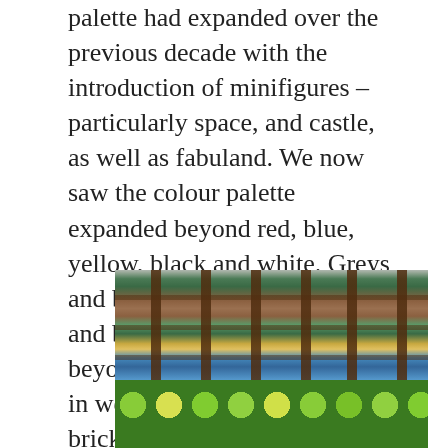typically derived only by droplet width. The LEGO palette had expanded over the previous decade with the introduction of minifigures – particularly space, and castle, as well as fabuland. We now saw the colour palette expanded beyond red, blue, yellow, black and white. Greys and brown had been added, and building started to evolve beyond the simple angles seen in wedge plates and sloped bricks.
[Figure (photo): Two photos of LEGO bricks — top photo shows a brown ladder/fence piece against green and blue brick backgrounds; bottom photo shows green and yellow LEGO stud tops from above.]
Privacy & Cookies: This site uses cookies. By continuing to use this website, you agree to their use.
To find out more, including how to control cookies, see here: Cookie Policy
Close and accept